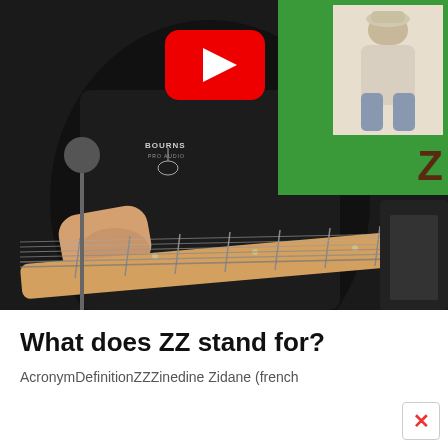[Figure (screenshot): YouTube video thumbnail showing a person playing an electric guitar (Arbor brand) with a maple neck, wearing a black Bourns Pro Audio t-shirt. Top-right overlay shows a green panel with a small photo of a person standing and the letters 'ZZ' in dark brown. A red YouTube play button is visible in the upper center.]
What does ZZ stand for?
AcronymDefinitionZZZinedine Zidane (french